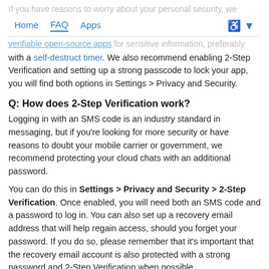If you have reasons to worry about your personal security, we recommend using only secret chats in official or verifiable open-source apps for sensitive information, preferably with a self-destruct timer.
Home   FAQ   Apps
with a self-destruct timer. We also recommend enabling 2-Step Verification and setting up a strong passcode to lock your app, you will find both options in Settings > Privacy and Security.
Q: How does 2-Step Verification work?
Logging in with an SMS code is an industry standard in messaging, but if you're looking for more security or have reasons to doubt your mobile carrier or government, we recommend protecting your cloud chats with an additional password.
You can do this in Settings > Privacy and Security > 2-Step Verification. Once enabled, you will need both an SMS code and a password to log in. You can also set up a recovery email address that will help regain access, should you forget your password. If you do so, please remember that it's important that the recovery email account is also protected with a strong password and 2-Step Verification when possible.
Check this out for tips on creating a strong password that is easy to remember.